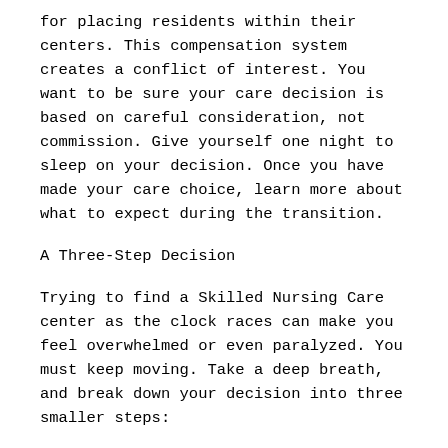for placing residents within their centers. This compensation system creates a conflict of interest. You want to be sure your care decision is based on careful consideration, not commission. Give yourself one night to sleep on your decision. Once you have made your care choice, learn more about what to expect during the transition.
A Three-Step Decision
Trying to find a Skilled Nursing Care center as the clock races can make you feel overwhelmed or even paralyzed. You must keep moving. Take a deep breath, and break down your decision into three smaller steps: